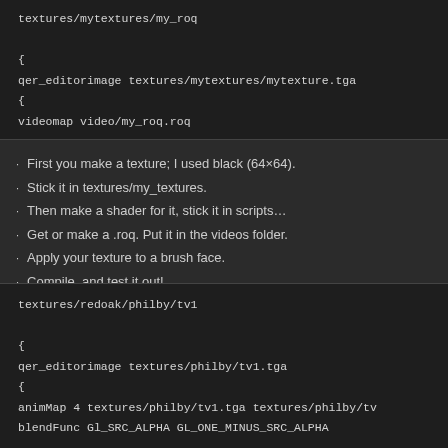[Figure (screenshot): Code block showing shader script with textures/mytextures/my_roq, qer_editorimage and videomap directives]
First you make a texture; I used black (64×64).
Stick it in textures/my_textures.
Then make a shader for it, stick it in scripts…
Get or make a .roq. Put it in the videos folder.
Apply your texture to a brush face.
Compile, and test it out!
Note: Be sure to include the texture folder for the final .pk3
And while we're talking about in game videos or movies, philby added "I w
[Figure (screenshot): Code block showing shader script with textures/redoak/philby/tv1, qer_editorimage, animMap and blendFunc directives]